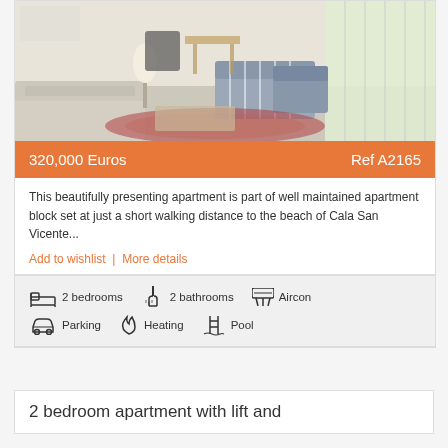[Figure (photo): Interior photo of a living room with sofas, armchairs, patterned rug, lamp, and large windows with bright natural light]
320,000 Euros   Ref A2165
This beautifully presenting apartment is part of well maintained apartment block set at just a short walking distance to the beach of Cala San Vicente...
Add to wishlist  |  More details
2 bedrooms  2 bathrooms  Aircon  Parking  Heating  Pool
2 bedroom apartment with lift and